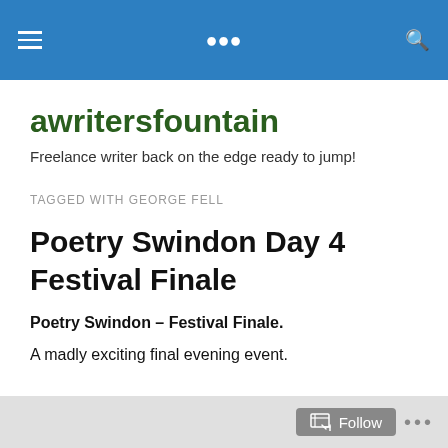awritersfountain — site header navigation bar
awritersfountain
Freelance writer back on the edge ready to jump!
TAGGED WITH GEORGE FELL
Poetry Swindon Day 4 Festival Finale
Poetry Swindon – Festival Finale.
A madly exciting final evening event.
Follow